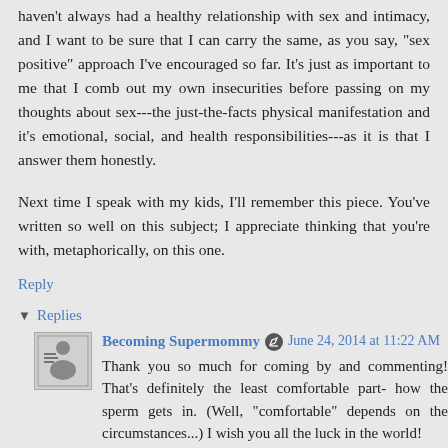haven't always had a healthy relationship with sex and intimacy, and I want to be sure that I can carry the same, as you say, "sex positive" approach I've encouraged so far. It's just as important to me that I comb out my own insecurities before passing on my thoughts about sex---the just-the-facts physical manifestation and it's emotional, social, and health responsibilities---as it is that I answer them honestly.
Next time I speak with my kids, I'll remember this piece. You've written so well on this subject; I appreciate thinking that you're with, metaphorically, on this one.
Reply
▾ Replies
Becoming Supermommy  June 24, 2014 at 11:22 AM
Thank you so much for coming by and commenting! That's definitely the least comfortable part- how the sperm gets in. (Well, "comfortable" depends on the circumstances...) I wish you all the luck in the world!